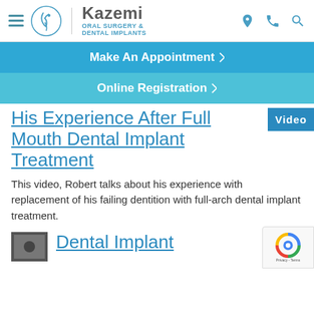[Figure (logo): Kazemi Oral Surgery & Dental Implants logo with face icon]
Make An Appointment ▶
Online Registration ▶
His Experience After Full Mouth Dental Implant Treatment
This video, Robert talks about his experience with replacement of his failing dentition with full-arch dental implant treatment.
Dental Implant